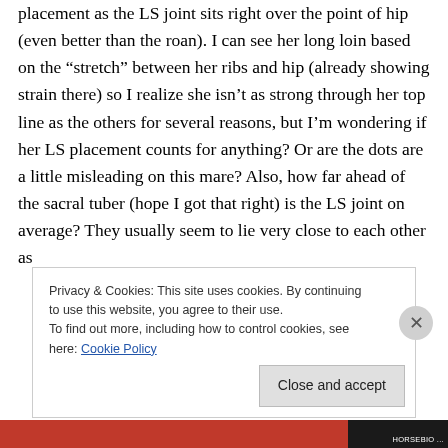placement as the LS joint sits right over the point of hip (even better than the roan). I can see her long loin based on the “stretch” between her ribs and hip (already showing strain there) so I realize she isn’t as strong through her top line as the others for several reasons, but I’m wondering if her LS placement counts for anything? Or are the dots are a little misleading on this mare? Also, how far ahead of the sacral tuber (hope I got that right) is the LS joint on average? They usually seem to lie very close to each other as
Privacy & Cookies: This site uses cookies. By continuing to use this website, you agree to their use.
To find out more, including how to control cookies, see here: Cookie Policy